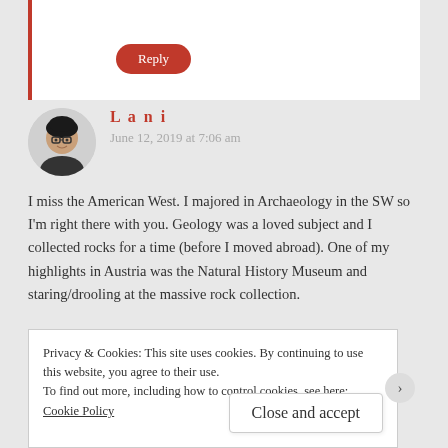[Figure (other): Reply button (red pill-shaped) in top comment block with red left border]
Lani
June 12, 2019 at 7:06 am
[Figure (photo): Avatar of Lani - woman with glasses and dark hair]
I miss the American West. I majored in Archaeology in the SW so I'm right there with you. Geology was a loved subject and I collected rocks for a time (before I moved abroad). One of my highlights in Austria was the Natural History Museum and staring/drooling at the massive rock collection.
Your writing does it justice. xo
Reply
Privacy & Cookies: This site uses cookies. By continuing to use this website, you agree to their use.
To find out more, including how to control cookies, see here: Cookie Policy
Close and accept